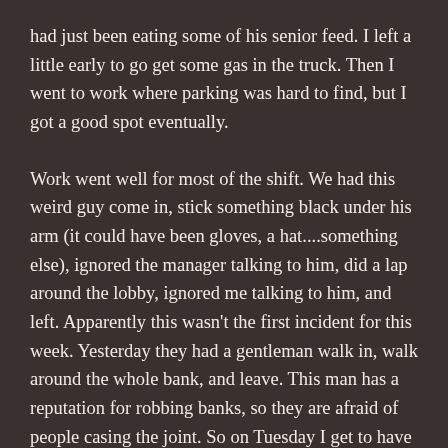had just been eating some of his senior feed. I left a little early to go get some gas in the truck. Then I went to work where parking was hard to find, but I got a good spot eventually.
Work went well for most of the shift. We had this weird guy come in, stick something black under his arm (it could have been gloves, a hat....something else), ignored the manager talking to him, did a lap around the lobby, ignored me talking to him, and left. Apparently this wasn't the first incident for this week. Yesterday they had a gentleman walk in, walk around the whole bank, and leave. This man has a reputation for robbing banks, so they are afraid of people casing the joint. So on Tuesday I get to have a long day and go in at 8.
Friday started early. I didn't sleep good and then I had to wake up early to get to my parents early so Poppa could help me with Gucci. So I went over to my parents house as